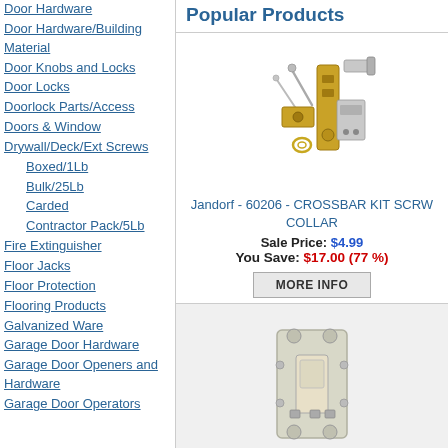Door Hardware
Door Hardware/Building Material
Door Knobs and Locks
Door Locks
Doorlock Parts/Access
Doors & Window
Drywall/Deck/Ext Screws
Boxed/1Lb
Bulk/25Lb
Carded
Contractor Pack/5Lb
Fire Extinguisher
Floor Jacks
Floor Protection
Flooring Products
Galvanized Ware
Garage Door Hardware
Garage Door Openers and Hardware
Garage Door Operators
Popular Products
[Figure (photo): Jandorf crossbar kit screw collar hardware parts on white background]
Jandorf - 60206 - CROSSBAR KIT SCRW COLLAR
Sale Price: $4.99
You Save: $17.00 (77 %)
[Figure (photo): Leviton CS415-2IS 15 amps Four Pole Toggle AC Quiet Switch Ivory on gray background]
Leviton - CS415-2IS - 15 amps Four Pole Toggle AC Quiet Switch Ivory - 1/Pack